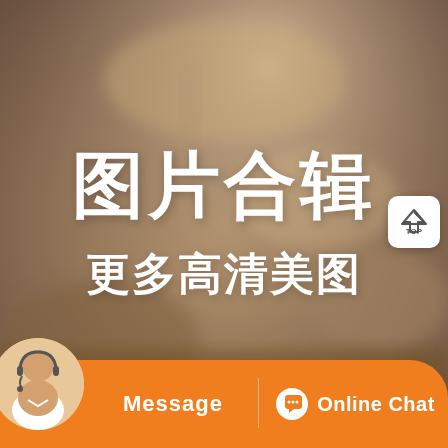[Figure (photo): Blurred background photo of an indoor scene with warm brownish tones]
图片合辑
更多高清美图
[Figure (logo): TOP button with house/arrow icon in white rounded square]
[Figure (photo): Customer service agent avatar (woman with headset)]
Message
Online Chat